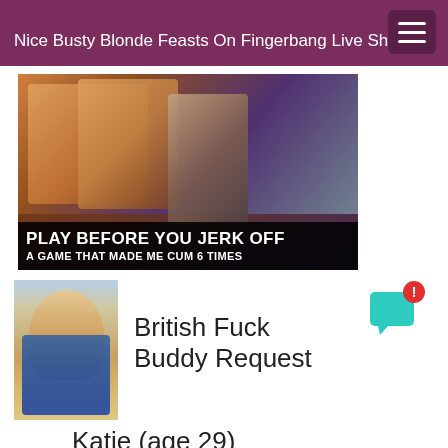Nice Busty Blonde Feasts On Fingerbang Live Show
[Figure (photo): Adult advertisement banner with animated figures and text 'PLAY BEFORE YOU JERK OFF - A GAME THAT MADE ME CUM 6 TIMES']
[Figure (photo): Photo of a young woman with brown curly hair wearing a blue bra and open blue jacket]
British Fuck Buddy Request
Katie (age 29)